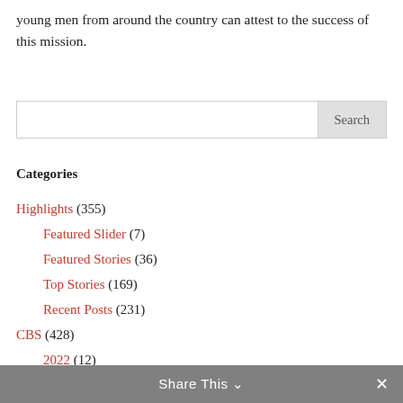young men from around the country can attest to the success of this mission.
[Figure (other): Search input box with Search button]
Categories
Highlights (355)
Featured Slider (7)
Featured Stories (36)
Top Stories (169)
Recent Posts (231)
CBS (428)
2022 (12)
2020 (1)
Share This ∨  ✕